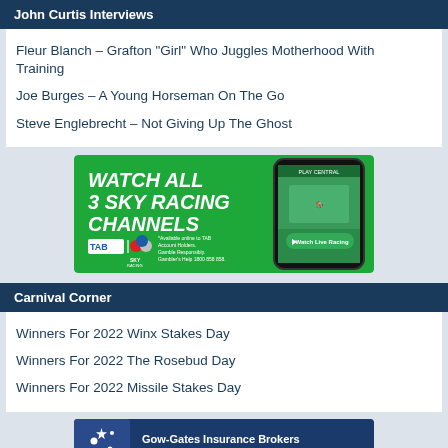John Curtis Interviews
Fleur Blanch – Grafton “Girl” Who Juggles Motherhood With Training
Joe Burges – A Young Horseman On The Go
Steve Englebrecht – Not Giving Up The Ghost
[Figure (infographic): TAB Sky Racing advertisement: Watch All 3 Sky Racing Channels. Available online to TAB Account Holders. Gamble Responsibly. Gambler's Help 1800 858 858. Watch Live Racing button. Shows a mobile phone with horse racing.]
Carnival Corner
Winners For 2022 Winx Stakes Day
Winners For 2022 The Rosebud Day
Winners For 2022 Missile Stakes Day
[Figure (infographic): Gow-Gates Insurance Brokers advertisement: For all your Equine & ... with Southern Cross star icon on dark blue background.]